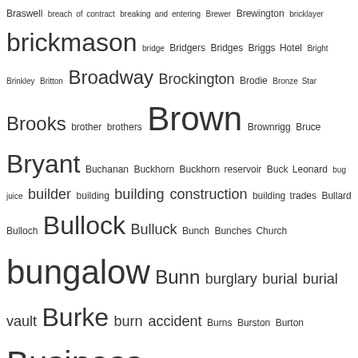Braswell breach of contract breaking and entering Brewer Brewington bricklayer brickmason bridge Bridgers Bridges Briggs Hotel Bright Brinkley Britton Broadway Brockington Brodie Bronze Star Brooks brother brothers Brown Brownrigg Bruce Bryant Buchanan Buckhorn Buckhorn reservoir Buck Leonard bug juice builder building building construction building trades Bullard Bulloch Bullock Bulluck Bunch Bunches Church bungalow Bunn burglary burial burial vault Burke burn accident Burns Burston Burton Business business directory business district business organization businesswomen butcher Butler Butterfield Bynum C.H. Darden High School C.I.A.A. Cab Calloway cabin cabinetmaker cadetship cafe cakewalk Caldwell calendar calf Calhoun Calvary Presbyterian Cameron Campbell Camp Dodge Camp Greene cancer Cannady canning Cannon cantata cap and gown Cape Cod Cape Verde capital crime capital punishment card game caricature carjacli carnival Carolina Stompers Carolina Street carpenter Carr Carroll Carroll Street carte de visite Carter cartoon Case cash casualty Catholic school